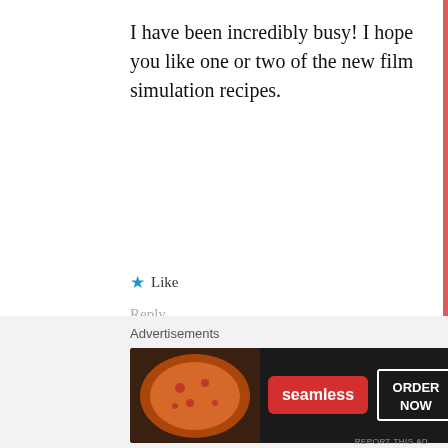I have been incredibly busy! I hope you like one or two of the new film simulation recipes.
★ Like
Reply
Advertisements
[Figure (screenshot): Day One journaling app advertisement banner on blue background with icons and text: The only journaling app you'll ever need.]
REPORT THIS AD
Advertisements
[Figure (screenshot): Seamless food ordering advertisement with pizza image, Seamless logo in red, and ORDER NOW button]
REPORT THIS AD